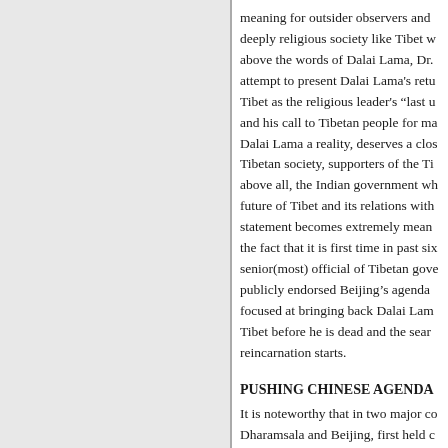meaning for outsider observers and deeply religious society like Tibet w above the words of Dalai Lama, Dr. attempt to present Dalai Lama's retu Tibet as the religious leader's "last u and his call to Tibetan people for ma Dalai Lama a reality, deserves a clos Tibetan society, supporters of the Ti above all, the Indian government wh future of Tibet and its relations with statement becomes extremely mean the fact that it is first time in past six senior(most) official of Tibetan gov publicly endorsed Beijing's agenda focused at bringing back Dalai Lam Tibet before he is dead and the sear reincarnation starts.
PUSHING CHINESE AGENDA
It is noteworthy that in two major co Dharamsala and Beijing, first held c